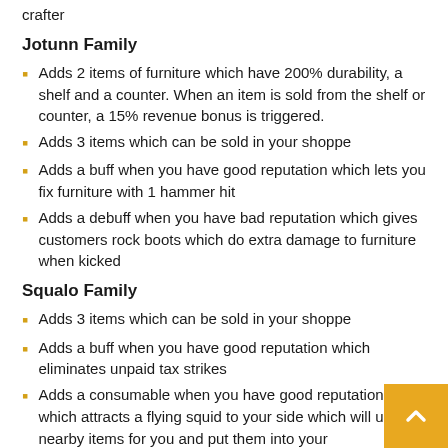crafter
Jotunn Family
Adds 2 items of furniture which have 200% durability, a shelf and a counter. When an item is sold from the shelf or counter, a 15% revenue bonus is triggered.
Adds 3 items which can be sold in your shoppe
Adds a buff when you have good reputation which lets you fix furniture with 1 hammer hit
Adds a debuff when you have bad reputation which gives customers rock boots which do extra damage to furniture when kicked
Squalo Family
Adds 3 items which can be sold in your shoppe
Adds a buff when you have good reputation which eliminates unpaid tax strikes
Adds a consumable when you have good reputation which attracts a flying squid to your side which will up nearby items for you and put them into your